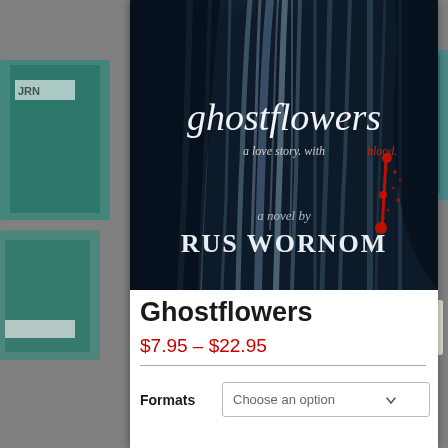[Figure (photo): Book cover for 'Ghostflowers' by Rus Wornom. Dark blue-black background with flowing hair or smoke-like wisps of light. Title 'ghostflowers' in elegant italic script. Subtitle 'a love story. with blood.' with 'blood' in red. Red blood drip/splatter graphic on right side. Bottom text: 'a novel by RUS WORNOM' in serif font.]
Ghostflowers
$7.95 – $22.95
Formats   Choose an option